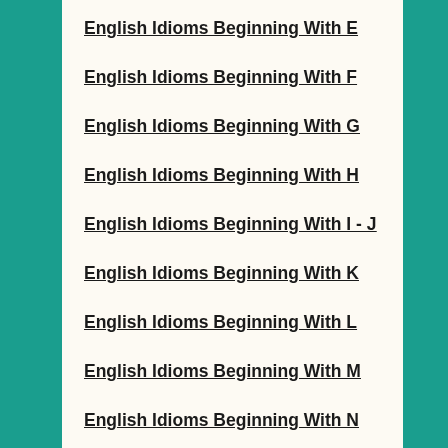English Idioms Beginning With E
English Idioms Beginning With F
English Idioms Beginning With G
English Idioms Beginning With H
English Idioms Beginning With I - J
English Idioms Beginning With K
English Idioms Beginning With L
English Idioms Beginning With M
English Idioms Beginning With N
English Idioms Beginning With O
English Idioms Beginning With P - Q